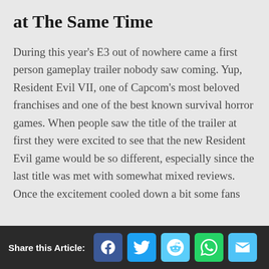at The Same Time
During this year's E3 out of nowhere came a first person gameplay trailer nobody saw coming. Yup, Resident Evil VII, one of Capcom's most beloved franchises and one of the best known survival horror games. When people saw the title of the trailer at first they were excited to see that the new Resident Evil game would be so different, especially since the last title was met with somewhat mixed reviews. Once the excitement cooled down a bit some fans
Share this Article: